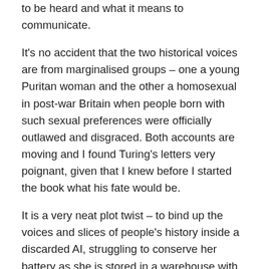to be heard and what it means to communicate.
It's no accident that the two historical voices are from marginalised groups – one a young Puritan woman and the other a homosexual in post-war Britain when people born with such sexual preferences were officially outlawed and disgraced. Both accounts are moving and I found Turing's letters very poignant, given that I knew before I started the book what his fate would be.
It is a very neat plot twist – to bind up the voices and slices of people's history inside a discarded AI, struggling to conserve her battery as she is stored in a warehouse with other bots for the crime of being too lifelike. I have a feeling this book is one that will stay with me for a long time – after all, what will be our legacy, those of us who have gone, now we no longer write down our feelings and